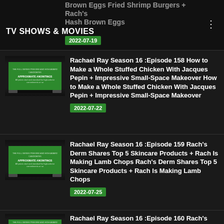TV SHOWS & MOVIES
Brown Eggs Fried Shrimp Burgers + Rach's Hash Brown Eggs
2022-07-19
Rachael Ray Season 16 :Episode 158 How to Make a Whole Stuffed Chicken With Jacques Pepin + Impressive Small-Space Makeover How to Make a Whole Stuffed Chicken With Jacques Pepin + Impressive Small-Space Makeover
2022-07-22
Rachael Ray Season 16 :Episode 159 Rach's Derm Shares Top 5 Skincare Products + Rach Is Making Lamb Chops Rach's Derm Shares Top 5 Skincare Products + Rach Is Making Lamb Chops
2022-07-25
Rachael Ray Season 16 :Episode 160 Rach's Make-Your-Own Takeout + 3 Things to Add to Your Closet Rach's Make-Your-Own Takeout + 3 Things to Add to Your Closet
2022-07-29